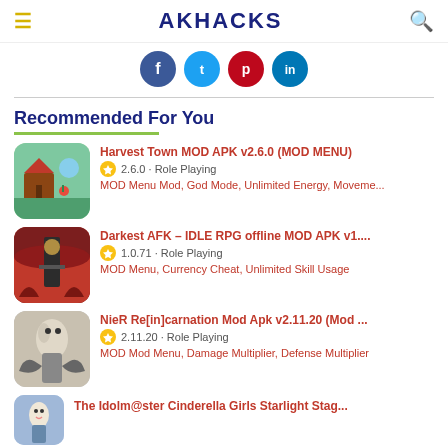AKHACKS
[Figure (illustration): Social media share buttons: Facebook (blue), Twitter (light blue), Pinterest (red), LinkedIn (dark blue)]
Recommended For You
Harvest Town MOD APK v2.6.0 (MOD MENU) — 2.6.0 · Role Playing — MOD Menu Mod, God Mode, Unlimited Energy, Moveme...
Darkest AFK – IDLE RPG offline MOD APK v1.... — 1.0.71 · Role Playing — MOD Menu, Currency Cheat, Unlimited Skill Usage
NieR Re[in]carnation Mod Apk v2.11.20 (Mod ...) — 2.11.20 · Role Playing — MOD Mod Menu, Damage Multiplier, Defense Multiplier
The Idolm@ster Cinderella Girls Starlight Stag...